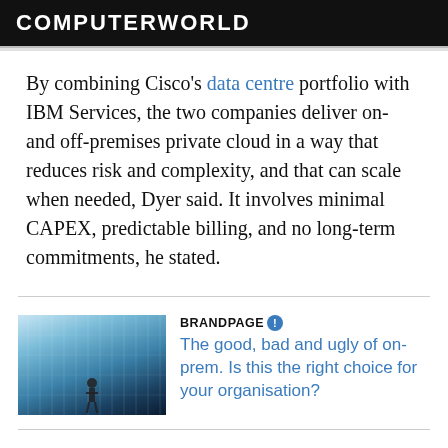COMPUTERWORLD
By combining Cisco's data centre portfolio with IBM Services, the two companies deliver on- and off-premises private cloud in a way that reduces risk and complexity, and that can scale when needed, Dyer said. It involves minimal CAPEX, predictable billing, and no long-term commitments, he stated.
[Figure (photo): Photo of a person standing in a data centre corridor with blue-toned server racks, viewed from below]
BRANDPAGE The good, bad and ugly of on-prem. Is this the right choice for your organisation?